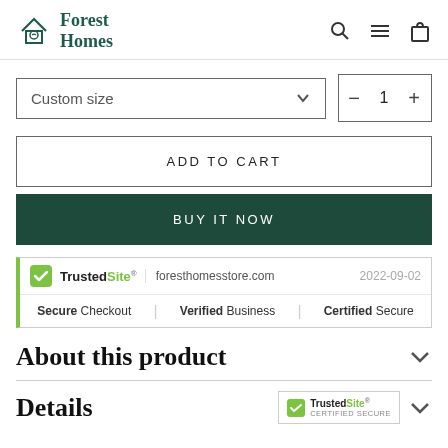Forest Homes
[Figure (screenshot): Custom size dropdown selector and quantity selector showing minus, 1, plus]
ADD TO CART
BUY IT NOW
[Figure (other): TrustedSite badge showing foresthomesstore.com, 2022-09-02, Secure Checkout, Verified Business, Certified Secure]
About this product
Details
[Figure (logo): TrustedSite CERTIFIED SECURE badge]